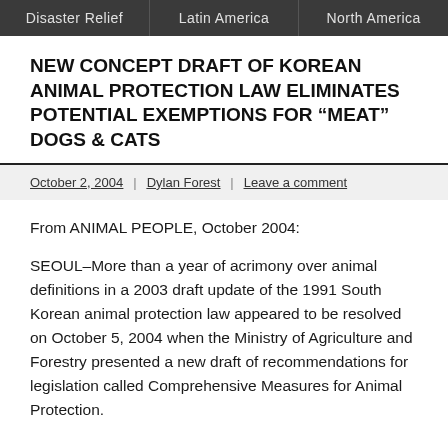Disaster Relief | Latin America | North America
NEW CONCEPT DRAFT OF KOREAN ANIMAL PROTECTION LAW ELIMINATES POTENTIAL EXEMPTIONS FOR “MEAT” DOGS & CATS
October 2, 2004 | Dylan Forest | Leave a comment
From ANIMAL PEOPLE, October 2004:
SEOUL–More than a year of acrimony over animal definitions in a 2003 draft update of the 1991 South Korean animal protection law appeared to be resolved on October 5, 2004 when the Ministry of Agriculture and Forestry presented a new draft of recommendations for legislation called Comprehensive Measures for Animal Protection.